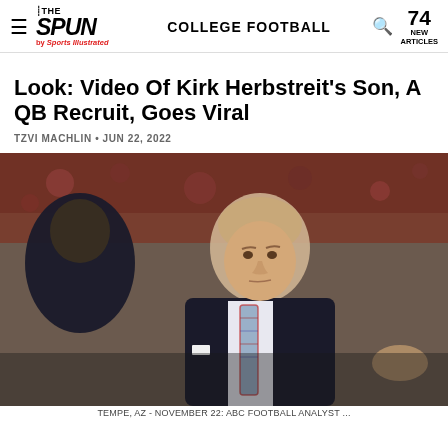THE SPUN by Sports Illustrated — COLLEGE FOOTBALL — 74 NEW ARTICLES
Look: Video Of Kirk Herbstreit's Son, A QB Recruit, Goes Viral
TZVI MACHLIN • JUN 22, 2022
[Figure (photo): Kirk Herbstreit wearing a dark suit with a plaid tie, standing on a football field, in conversation with another person. Crowd visible in background.]
TEMPE, AZ - NOVEMBER 22: ABC football analyst ...